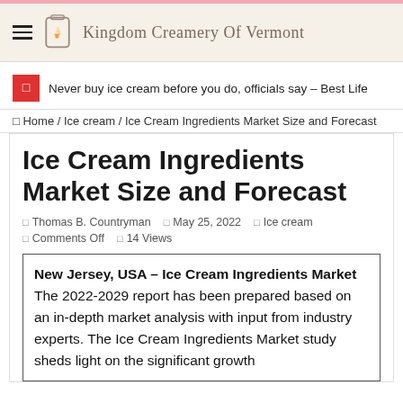Kingdom Creamery Of Vermont
Never buy ice cream before you do, officials say – Best Life
Home / Ice cream / Ice Cream Ingredients Market Size and Forecast
Ice Cream Ingredients Market Size and Forecast
Thomas B. Countryman  May 25, 2022  Ice cream  Comments Off  14 Views
New Jersey, USA – Ice Cream Ingredients Market The 2022-2029 report has been prepared based on an in-depth market analysis with input from industry experts. The Ice Cream Ingredients Market study sheds light on the significant growth